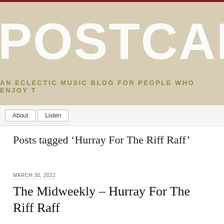[Figure (other): Blog header banner with tan/beige background, large white bold text 'POSTCARD' and subtitle 'AN ECLECTIC MUSIC BLOG FOR PEOPLE WHO ENJOY T']
About  Listen
Posts tagged ‘Hurray For The Riff Raff’
MARCH 30, 2022
The Midweekly – Hurray For The Riff Raff